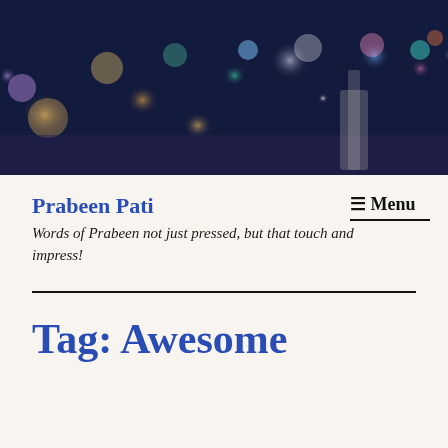[Figure (photo): Blurred bokeh night cityscape photo with colorful out-of-focus lights in blues, purples, oranges and whites against a dark sky background.]
Prabeen Pati
Words of Prabeen not just pressed, but that touch and impress!
≡ Menu
Tag: Awesome